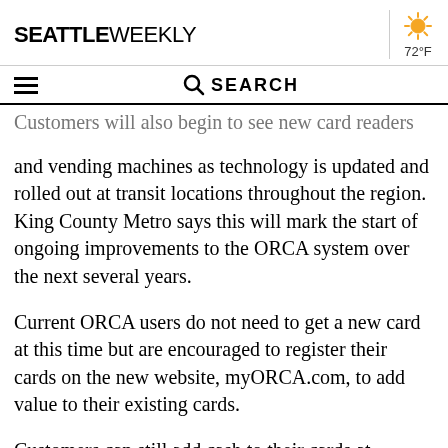SEATTLE WEEKLY — 72°F
Customers will also begin to see new card readers and vending machines as technology is updated and rolled out at transit locations throughout the region. King County Metro says this will mark the start of ongoing improvements to the ORCA system over the next several years.
Current ORCA users do not need to get a new card at this time but are encouraged to register their cards on the new website, myORCA.com, to add value to their existing cards.
Customers can still add cash to their cards at vending machines, customer service locations, participating retailers.